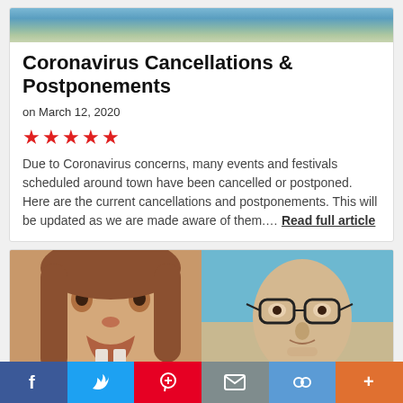[Figure (photo): Mountain landscape photo with snow-capped peaks at top of article card]
Coronavirus Cancellations & Postponements
on March 12, 2020
[Figure (other): Five red star rating icons]
Due to Coronavirus concerns, many events and festivals scheduled around town have been cancelled or postponed. Here are the current cancellations and postponements. This will be updated as we are made aware of them.... Read full article
[Figure (photo): Split image: left shows a young girl with open mouth close-up, right shows a man with glasses in a green shirt]
f  t  p  email  link  +